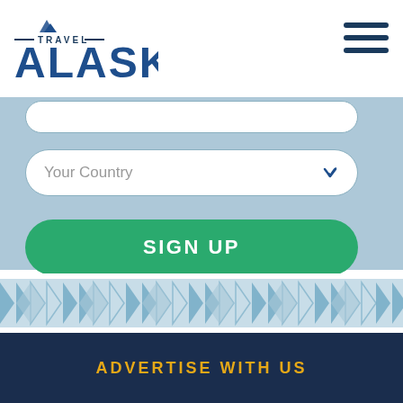[Figure (logo): Travel Alaska logo with mountain icon and 'TRAVEL' text above 'ALASKA' in bold blue letters]
[Figure (other): Hamburger menu icon with three horizontal dark blue bars]
Your Country
SIGN UP
I have read and agree to the terms and conditions of the privacy policy.*
[Figure (illustration): Decorative Native Alaskan pattern band with repeating triangular/arrow motifs in blue and white]
ADVERTISE WITH US